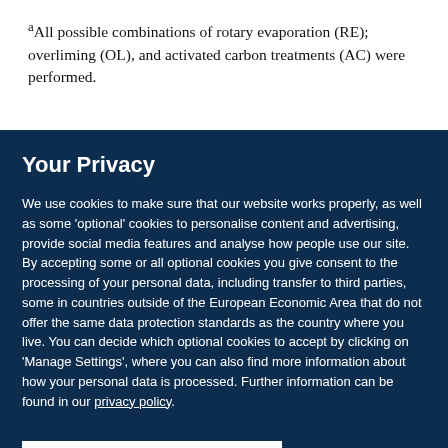aAll possible combinations of rotary evaporation (RE); overliming (OL), and activated carbon treatments (AC) were performed.
Your Privacy
We use cookies to make sure that our website works properly, as well as some 'optional' cookies to personalise content and advertising, provide social media features and analyse how people use our site. By accepting some or all optional cookies you give consent to the processing of your personal data, including transfer to third parties, some in countries outside of the European Economic Area that do not offer the same data protection standards as the country where you live. You can decide which optional cookies to accept by clicking on 'Manage Settings', where you can also find more information about how your personal data is processed. Further information can be found in our privacy policy.
Accept all cookies
Manage preferences